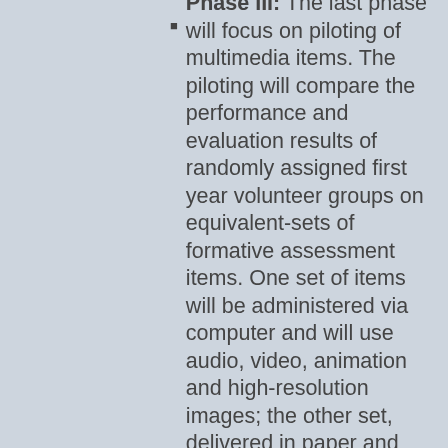Phase III: The last phase will focus on piloting of multimedia items. The piloting will compare the performance and evaluation results of randomly assigned first year volunteer groups on equivalent-sets of formative assessment items. One set of items will be administered via computer and will use audio, video, animation and high-resolution images; the other set, delivered in paper and pencil format, will contain the verbal descriptions of the multimedia features, as currently done in the existing assessment format. Order of administration will b...